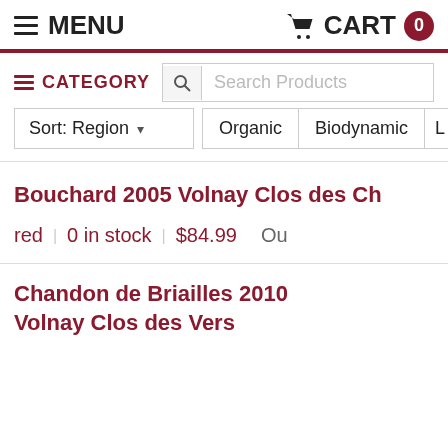MENU   CART 0
CATEGORY   Search Products
Sort: Region   Organic   Biodynamic   L
Bouchard 2005 Volnay Clos des Ch
red | 0 in stock | $84.99   Ou
Chandon de Briailles 2010 Volnay Clos des Vers